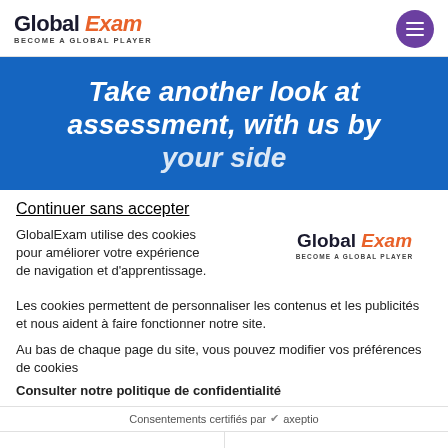Global Exam — BECOME A GLOBAL PLAYER
Take another look at assessment, with us by your side
Continuer sans accepter
GlobalExam utilise des cookies pour améliorer votre expérience de navigation et d'apprentissage.
Les cookies permettent de personnaliser les contenus et les publicités et nous aident à faire fonctionner notre site.
Au bas de chaque page du site, vous pouvez modifier vos préférences de cookies
Consulter notre politique de confidentialité
Consentements certifiés par ✔ axeptio
Paramétrer
Tout accepter